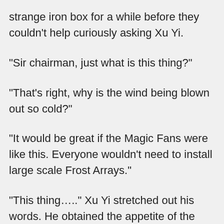strange iron box for a while before they couldn't help curiously asking Xu Yi.
“Sir chairman, just what is this thing?”
“That’s right, why is the wind being blown out so cold?”
“It would be great if the Magic Fans were like this. Everyone wouldn’t need to install large scale Frost Arrays.”
“This thing…..” Xu Yi stretched out his words. He obtained the appetite of the students, but he kept them hanging, “I won’t tell you for now.”